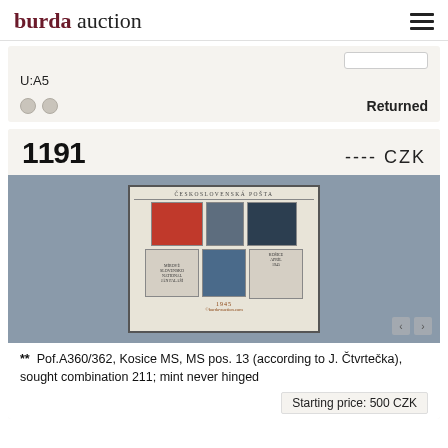burda auction
U:A5
Returned
1191
---- CZK
[Figure (photo): Czechoslovak stamp block (Košice MS) showing five stamps: a red stamp, a gray stamp, a dark blue stamp, a text block, a small blue stamp, and a Košice label, dated 1945. Text reads ČESKOSLOVENSKÁ POŠTA at top.]
** Pof.A360/362, Kosice MS, MS pos. 13 (according to J. Čtvrtečka), sought combination 211; mint never hinged
Starting price: 500 CZK